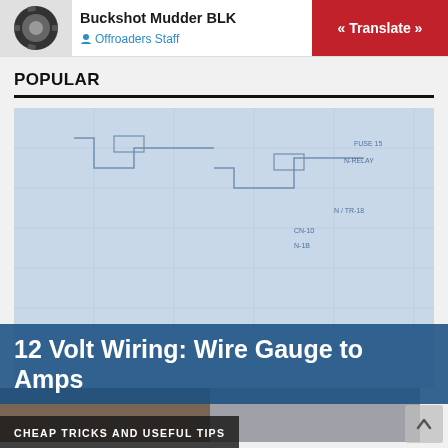[Figure (photo): Thumbnail of an off-road tire (Buckshot Mudder BLK) shown in a small square image]
Buckshot Mudder BLK
Offroaders Staff
« Translate »
POPULAR
[Figure (photo): Large photo of multiple colorful wire spools (blue, black, red, orange, purple, yellow, green) arranged on shelves with a wiring diagram in the background. Overlaid with article title text and tag.]
12 Volt Wiring: Wire Gauge to Amps
CHEAP TRICKS AND USEFUL TIPS
[Figure (photo): Bottom-left thumbnail image, partially visible]
[Figure (photo): Bottom-right thumbnail image, partially visible]